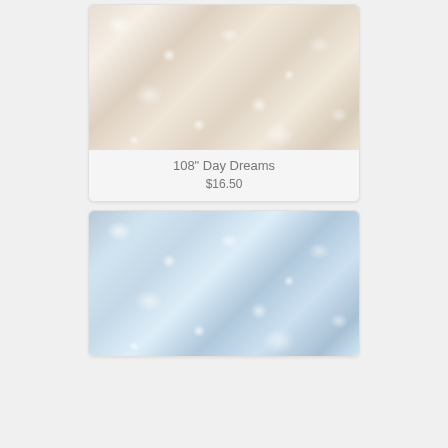[Figure (photo): Cream/tan batik fabric with swirling bubble and floral pattern, light beige tones with white circular highlights]
108" Day Dreams
$16.50
[Figure (photo): Light blue and mint batik fabric with swirling bubble and floral pattern, soft blue-green tones with white circular highlights]